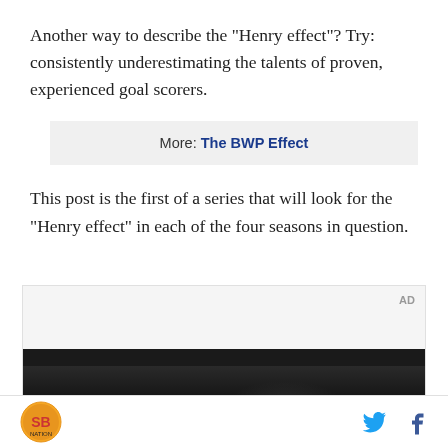Another way to describe the "Henry effect"? Try: consistently underestimating the talents of proven, experienced goal scorers.
More: The BWP Effect
This post is the first of a series that will look for the "Henry effect" in each of the four seasons in question.
[Figure (photo): Advertisement box with dark image showing interior scene]
Logo and social media icons (Twitter, Facebook)